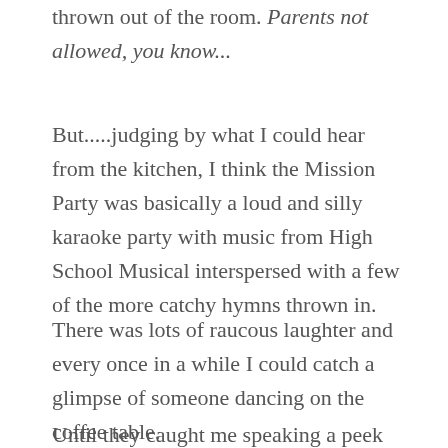thrown out of the room. Parents not allowed, you know...
But.....judging by what I could hear from the kitchen, I think the Mission Party was basically a loud and silly karaoke party with music from High School Musical interspersed with a few of the more catchy hymns thrown in.
There was lots of raucous laughter and every once in a while I could catch a glimpse of someone dancing on the coffee table.
Until they caught me speaking a peek